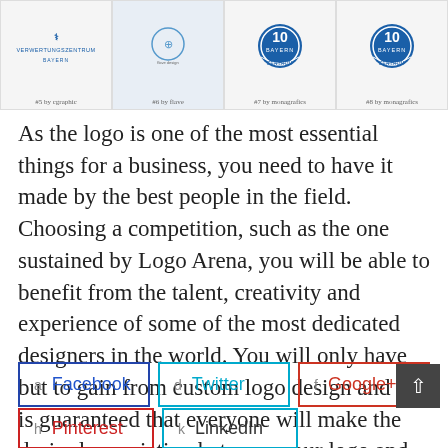[Figure (logo): Four logo thumbnails in a row at the top: #5 by cgraphic (Verwertungszentrum Bayern), #6 by flave (circular blue icon), #7 by monagrafics (Bayern 10 Zentrum stamp), #8 by monagrafics (Bayern 10 Zentrum stamp variant)]
As the logo is one of the most essential things for a business, you need to have it made by the best people in the field. Choosing a competition, such as the one sustained by Logo Arena, you will be able to benefit from the talent, creativity and experience of some of the most dedicated designers in the world. You will only have but to gain from custom logo design and it is guaranteed that everyone will make the desired association between your logo and your business.
a  Facebook
d  Twitter
f  Google+
h  Pinterest
k  LinkedIn